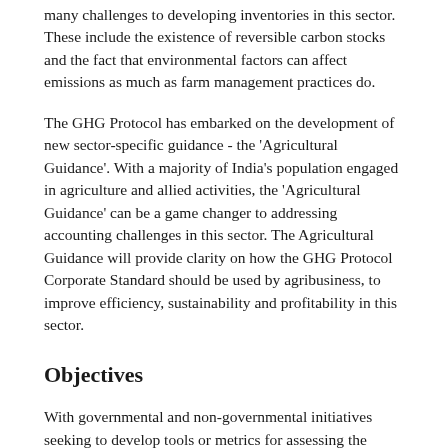many challenges to developing inventories in this sector. These include the existence of reversible carbon stocks and the fact that environmental factors can affect emissions as much as farm management practices do.
The GHG Protocol has embarked on the development of new sector-specific guidance - the 'Agricultural Guidance'. With a majority of India's population engaged in agriculture and allied activities, the 'Agricultural Guidance' can be a game changer to addressing accounting challenges in this sector. The Agricultural Guidance will provide clarity on how the GHG Protocol Corporate Standard should be used by agribusiness, to improve efficiency, sustainability and profitability in this sector.
Objectives
With governmental and non-governmental initiatives seeking to develop tools or metrics for assessing the climate impact of farms and the primary audience being agricultural producers, food processing and food product companies and GHG reporting programs, the Agricultural Guidance aims to -
Establish rigorous, consensus-based and internationally-relevant